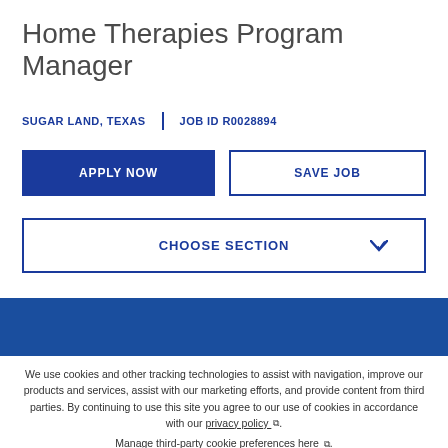Home Therapies Program Manager
SUGAR LAND, TEXAS  |  JOB ID R0028894
APPLY NOW
SAVE JOB
CHOOSE SECTION
We use cookies and other tracking technologies to assist with navigation, improve our products and services, assist with our marketing efforts, and provide content from third parties. By continuing to use this site you agree to our use of cookies in accordance with our privacy policy. Manage third-party cookie preferences here.
Accept